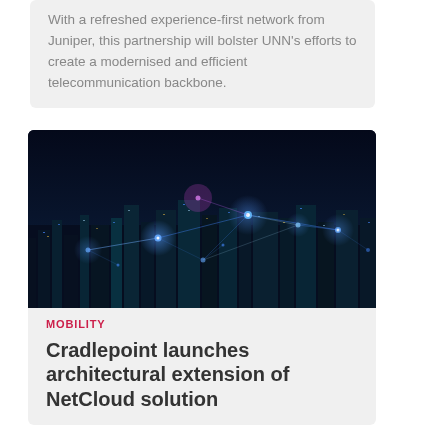With a refreshed experience-first network from Juniper, this partnership will bolster UNN's efforts to create a modernised and efficient telecommunication backbone.
[Figure (photo): Aerial night view of a city with glowing blue network connection lines overlaid on top of the cityscape]
MOBILITY
Cradlepoint launches architectural extension of NetCloud solution